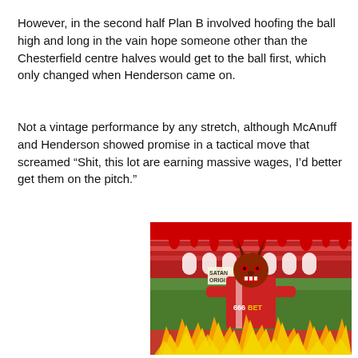However, in the second half Plan B involved hoofing the ball high and long in the vain hope someone other than the Chesterfield centre halves would get to the ball first, which only changed when Henderson came on.
Not a vintage performance by any stretch, although McAnuff and Henderson showed promise in a tactical move that screamed “Shit, this lot are earning massive wages, I’d better get them on the pitch.”
[Figure (photo): Photo of a person wearing a devil/demon mask with horns, dressed in a red football shirt showing '666BET' sponsor, holding the shirt open. Background shows a football stadium with red seats. Foreground shows illustrated flames (orange/yellow). Background has red dripping paint effect. Text visible: 'SATAN ORIGI' on a shop/stand in the background.]